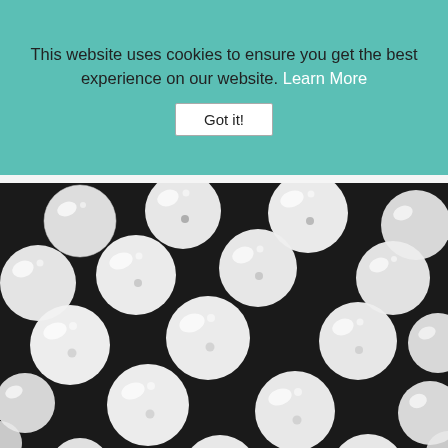This website uses cookies to ensure you get the best experience on our website. Learn More
Got it!
[Figure (photo): Close-up photo of many white glossy round beads scattered on a dark black background]